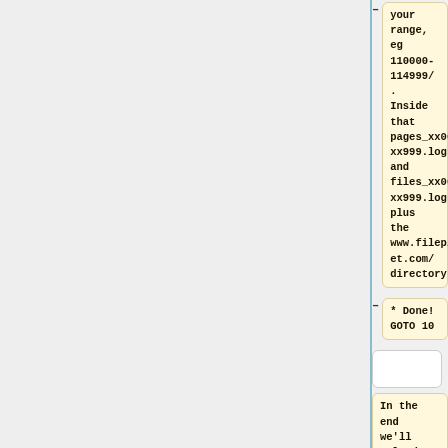your range, eg 110000-114999/ . Inside that pages_xx000-xx999.log and files_xx000-xx999.log plus the www.fileplanet.com/ directory.
* Done! GOTO 10
In the end we'll upload all th...
===Related items===